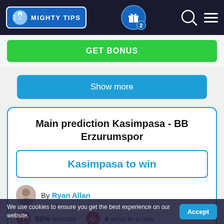MIGHTY TIPS
GET BONUS
Show more
Main prediction Kasimpasa - BB Erzurumspor
Kasimpasa to win
By Ryan Allan
58% winrate   4 wins in a row
Originally from Scotland, Ryan is an experienced betting expert and content producer based out of Barcelona, Spain.
We use cookies to ensure you get the best experience on our website.   Accept